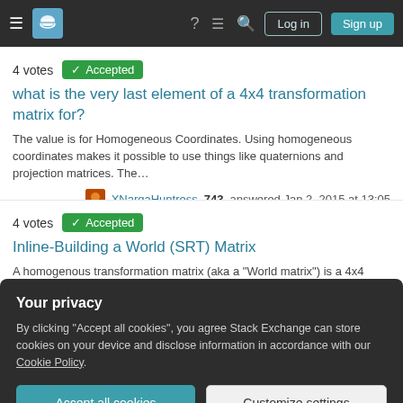[Figure (screenshot): Stack Exchange navigation bar with hamburger menu, logo, help icon, chat icon, search icon, Log in and Sign up buttons]
4 votes   ✓ Accepted
what is the very last element of a 4x4 transformation matrix for?
The value is for Homogeneous Coordinates. Using homogeneous coordinates makes it possible to use things like quaternions and projection matrices. The…
XNargaHuntress 743 answered Jan 2, 2015 at 13:05
4 votes   ✓ Accepted
Inline-Building a World (SRT) Matrix
A homogenous transformation matrix (aka a "World matrix") is a 4x4 matrix that defines the translation and rotation of one coordinate system with respe…
Your privacy
By clicking "Accept all cookies", you agree Stack Exchange can store cookies on your device and disclose information in accordance with our Cookie Policy.
Accept all cookies   Customize settings
DMGregory ♦ 115k answered Jun 16, 2015 at 16:44